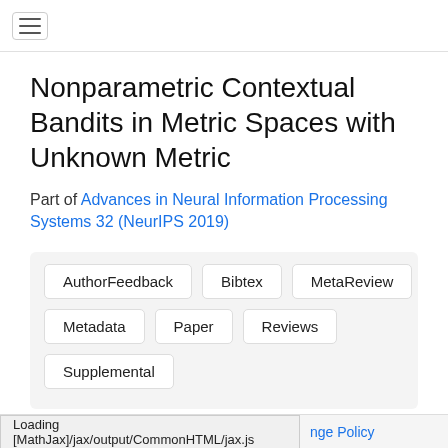Nonparametric Contextual Bandits in Metric Spaces with Unknown Metric
Part of Advances in Neural Information Processing Systems 32 (NeurIPS 2019)
AuthorFeedback  Bibtex  MetaReview  Metadata  Paper  Reviews  Supplemental
Authors
Loading [MathJax]/jax/output/CommonHTML/jax.js    nge Policy